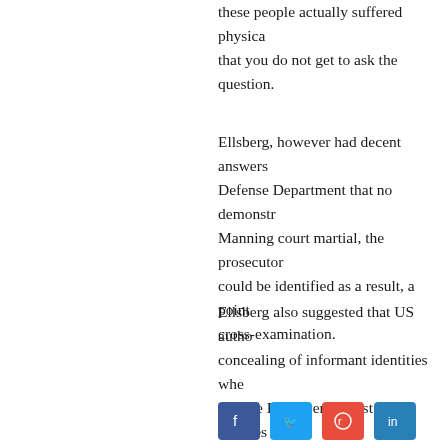these people actually suffered physical... that you do not get to ask the question...
Ellsberg, however had decent answers... Defense Department that no demonstr... Manning court martial, the prosecutor... could be identified as a result, a point... cross-examination.
Ellsberg also suggested that US autho... concealing of informant identities whe... Middle East over the last two decades... caused a million deaths and 37 million...
This did not prevent Lewis from specu... Afghanistan and Syria. It was "comm... murdered or forced to flee. "I'm sorry... at all obvious that this small fraction o... both sides of the conflicts can be attrib... palpable hit.